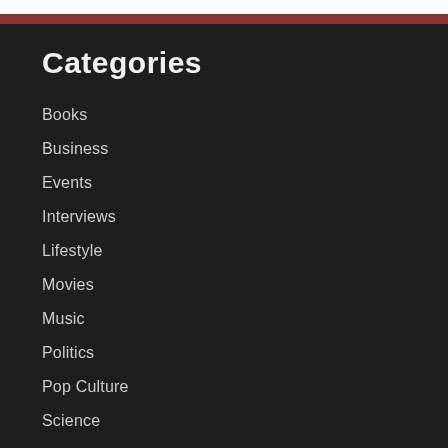Categories
Books
Business
Events
Interviews
Lifestyle
Movies
Music
Politics
Pop Culture
Science